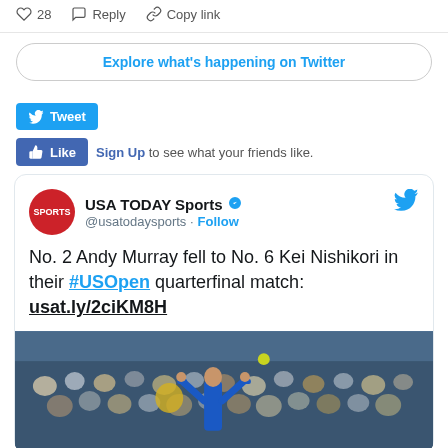28  Reply  Copy link
Explore what's happening on Twitter
Tweet
Like  Sign Up to see what your friends like.
USA TODAY Sports @usatodaysports · Follow
No. 2 Andy Murray fell to No. 6 Kei Nishikori in their #USOpen quarterfinal match: usat.ly/2ciKM8H
[Figure (photo): Tennis player celebrating with arms raised, crowd in background]